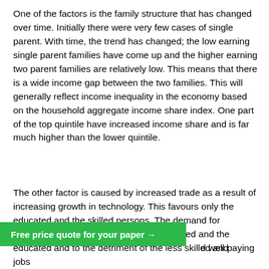One of the factors is the family structure that has changed over time. Initially there were very few cases of single parent. With time, the trend has changed; the low earning single parent families have come up and the higher earning two parent families are relatively low. This means that there is a wide income gap between the two families. This will generally reflect income inequality in the economy based on the household aggregate income share index. One part of the top quintile have increased income share and is far much higher than the lower quintile.
The other factor is caused by increased trade as a result of increasing growth in technology. This favours only the educated and the skilled persons. The demand for employment is shifted in favour of the skilled and the educated and to the detriment of the less skilled and d well paying jobs
[Figure (other): Green banner button reading 'Free price quote for your paper →']